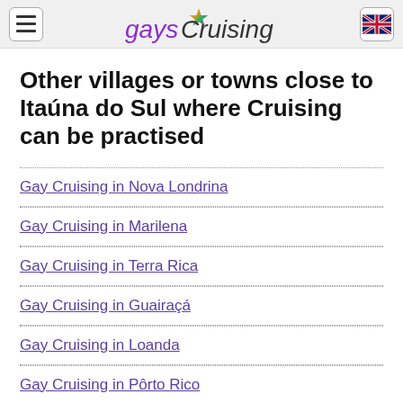gaysCruising
Other villages or towns close to Itaúna do Sul where Cruising can be practised
Gay Cruising in Nova Londrina
Gay Cruising in Marilena
Gay Cruising in Terra Rica
Gay Cruising in Guairaçá
Gay Cruising in Loanda
Gay Cruising in Pôrto Rico
Gay Cruising in Amaporã
Gay Cruising in Santa Isabel do Ivaí
Gay Cruising in Santa Cruz do Monte Castelo